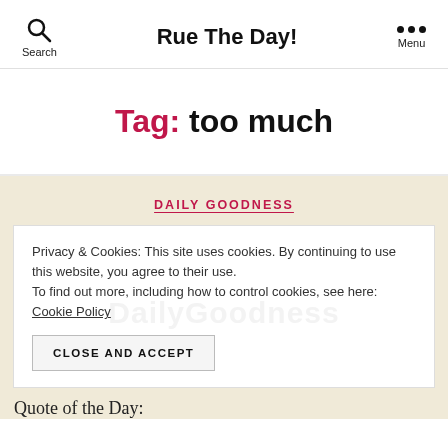Rue The Day!
Tag: too much
DAILY GOODNESS
Privacy & Cookies: This site uses cookies. By continuing to use this website, you agree to their use. To find out more, including how to control cookies, see here: Cookie Policy
CLOSE AND ACCEPT
Quote of the Day: